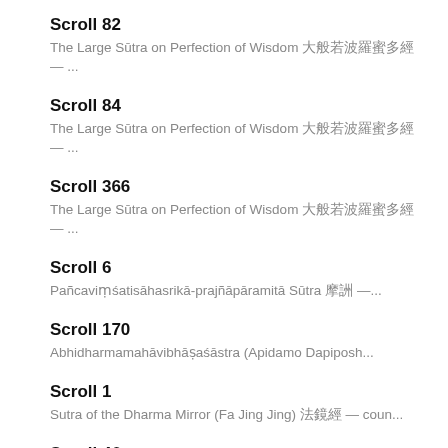Scroll 82
The Large Sūtra on Perfection of Wisdom 大般若波羅蜜多經 — ...
Scroll 84
The Large Sūtra on Perfection of Wisdom 大般若波羅蜜多經 — ...
Scroll 366
The Large Sūtra on Perfection of Wisdom 大般若波羅蜜多經 — ...
Scroll 6
Pañcaviṃśatisāhasrikā-prajñāpāramitā Sūtra 摩訶般若 —...
Scroll 170
Abhidharmamahāvibhāṣaśāstra (Apidamo Dapiposh...
Scroll 1
Sutra of the Dharma Mirror (Fa Jing Jing) 法鏡經 — coun...
Scroll 46
Dharmaguputakavinaya (Si Fen Lu) 四分律 — count: 33 ,...